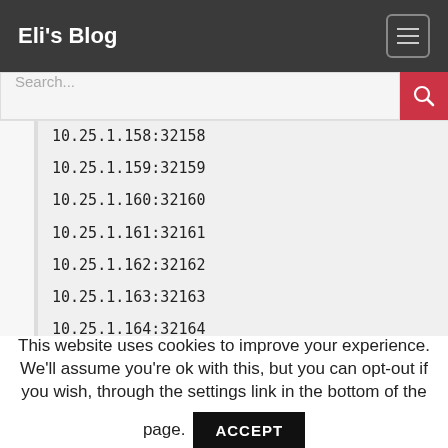Eli's Blog
Search...
10.25.1.158:32158
10.25.1.159:32159
10.25.1.160:32160
10.25.1.161:32161
10.25.1.162:32162
10.25.1.163:32163
10.25.1.164:32164
10.25.1.165:32165
10.25.1.166:32166
10.25.1.167:32167
10.25.1.168:32168
This website uses cookies to improve your experience. We'll assume you're ok with this, but you can opt-out if you wish, through the settings link in the bottom of the page.
ACCEPT